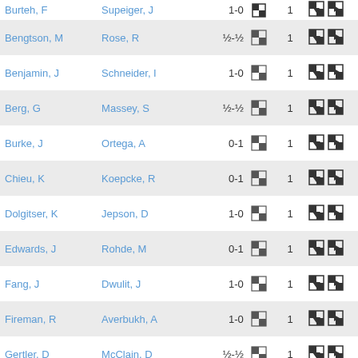| Player 1 | Player 2 | Result |  | Num | Icons |
| --- | --- | --- | --- | --- | --- |
| Bengtson, M | Rose, R | ½-½ | [chess icon] | 1 | [icons] |
| Benjamin, J | Schneider, I | 1-0 | [chess icon] | 1 | [icons] |
| Berg, G | Massey, S | ½-½ | [chess icon] | 1 | [icons] |
| Burke, J | Ortega, A | 0-1 | [chess icon] | 1 | [icons] |
| Chieu, K | Koepcke, R | 0-1 | [chess icon] | 1 | [icons] |
| Dolgitser, K | Jepson, D | 1-0 | [chess icon] | 1 | [icons] |
| Edwards, J | Rohde, M | 0-1 | [chess icon] | 1 | [icons] |
| Fang, J | Dwulit, J | 1-0 | [chess icon] | 1 | [icons] |
| Fireman, R | Averbukh, A | 1-0 | [chess icon] | 1 | [icons] |
| Gertler, D | McClain, D | ½-½ | [chess icon] | 1 | [icons] |